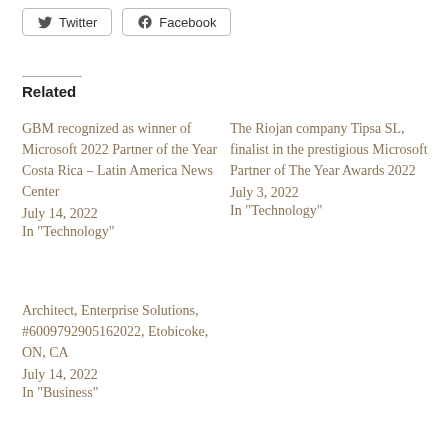[Figure (other): Twitter and Facebook social sharing buttons]
Related
GBM recognized as winner of Microsoft 2022 Partner of the Year Costa Rica – Latin America News Center
July 14, 2022
In "Technology"
The Riojan company Tipsa SL, finalist in the prestigious Microsoft Partner of The Year Awards 2022
July 3, 2022
In "Technology"
Architect, Enterprise Solutions, #6009792905162022, Etobicoke, ON, CA
July 14, 2022
In "Business"